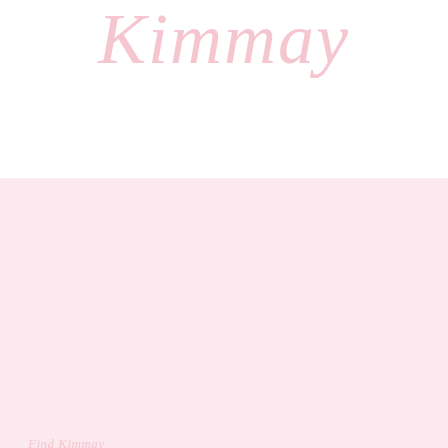Kimmay
Find Kimmay
Copyright 2024 Hurray Kimmay · All Rights Reserved
Privacy Policy
[Figure (infographic): Row of social media icons: Instagram, TikTok, Facebook, Twitter/X, Pinterest]